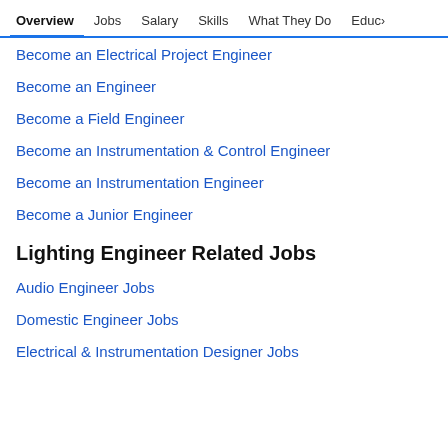Overview | Jobs | Salary | Skills | What They Do | Educa >
Become an Electrical Project Engineer
Become an Engineer
Become a Field Engineer
Become an Instrumentation & Control Engineer
Become an Instrumentation Engineer
Become a Junior Engineer
Lighting Engineer Related Jobs
Audio Engineer Jobs
Domestic Engineer Jobs
Electrical & Instrumentation Designer Jobs